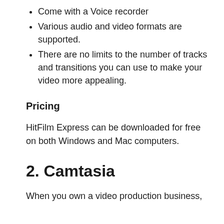Come with a Voice recorder
Various audio and video formats are supported.
There are no limits to the number of tracks and transitions you can use to make your video more appealing.
Pricing
HitFilm Express can be downloaded for free on both Windows and Mac computers.
2. Camtasia
When you own a video production business,